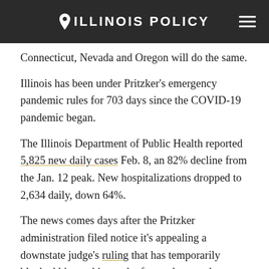Illinois Policy
Connecticut, Nevada and Oregon will do the same.
Illinois has been under Pritzker's emergency pandemic rules for 703 days since the COVID-19 pandemic began.
The Illinois Department of Public Health reported 5,825 new daily cases Feb. 8, an 82% decline from the Jan. 12 peak. New hospitalizations dropped to 2,634 daily, down 64%.
The news comes days after the Pritzker administration filed notice it's appealing a downstate judge's ruling that has temporarily blocked his masking order for students and teachers in 170